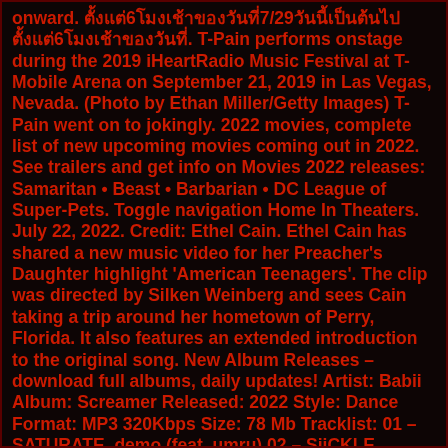onward. ตั้งแต่6โมงเช้าของวันที่7/29วันนี้เป็นต้นไป ตั้งแต่6โมงเช้าของวันที่. T-Pain performs onstage during the 2019 iHeartRadio Music Festival at T-Mobile Arena on September 21, 2019 in Las Vegas, Nevada. (Photo by Ethan Miller/Getty Images) T-Pain went on to jokingly. 2022 movies, complete list of new upcoming movies coming out in 2022. See trailers and get info on Movies 2022 releases: Samaritan • Beast • Barbarian • DC League of Super-Pets. Toggle navigation Home In Theaters. July 22, 2022. Credit: Ethel Cain. Ethel Cain has shared a new music video for her Preacher's Daughter highlight 'American Teenagers'. The clip was directed by Silken Weinberg and sees Cain taking a trip around her hometown of Perry, Florida. It also features an extended introduction to the original song. New Album Releases – download full albums, daily updates! Artist: Babii Album: Screamer Released: 2022 Style: Dance Format: MP3 320Kbps Size: 78 Mb Tracklist: 01 – SATURATE_demo (feat. umru) 02 – SiiCKLE_ (wJennifer. 46. Gang Of Youths - angel in realtime. (Warner) Tidal (Stream) Amazon